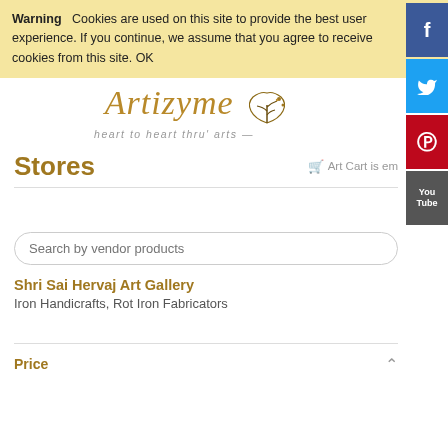Warning  Cookies are used on this site to provide the best user experience. If you continue, we assume that you agree to receive cookies from this site. OK
[Figure (logo): Artizyme logo with stylized text and tree illustration, tagline: heart to heart thru' arts]
Stores
Art Cart is em...
Search by vendor products
Shri Sai Hervaj Art Gallery
Iron Handicrafts, Rot Iron Fabricators
Price